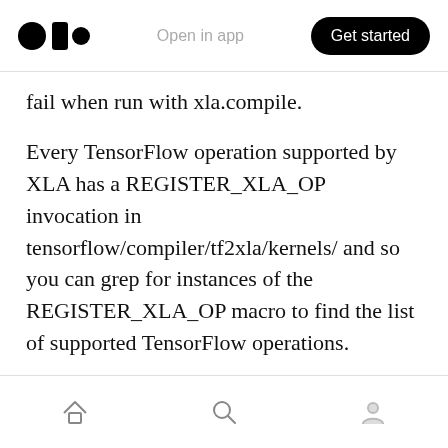Open in app   Get started
fail when run with xla.compile.
Every TensorFlow operation supported by XLA has a REGISTER_XLA_OP invocation in tensorflow/compiler/tf2xla/kernels/ and so you can grep for instances of the REGISTER_XLA_OP macro to find the list of supported TensorFlow operations.
Appendix
Performance on Google benchmarks
Home Search Profile